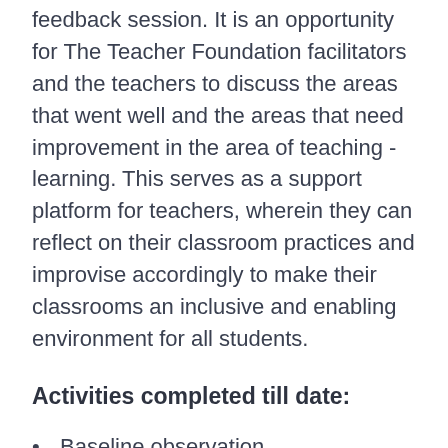feedback session. It is an opportunity for The Teacher Foundation facilitators and the teachers to discuss the areas that went well and the areas that need improvement in the area of teaching - learning. This serves as a support platform for teachers, wherein they can reflect on their classroom practices and improvise accordingly to make their classrooms an inclusive and enabling environment for all students.
Activities completed till date:
Baseline observation